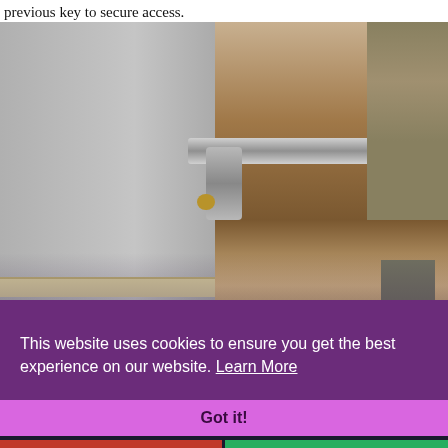previous key to secure access.
[Figure (photo): A door with a silver handle and lock, partially open, showing the interior of a room with furniture, shelving, and a bin. The door appears to be a commercial or residential entryway.]
This website uses cookies to ensure you get the best experience on our website. Learn More
Got it!